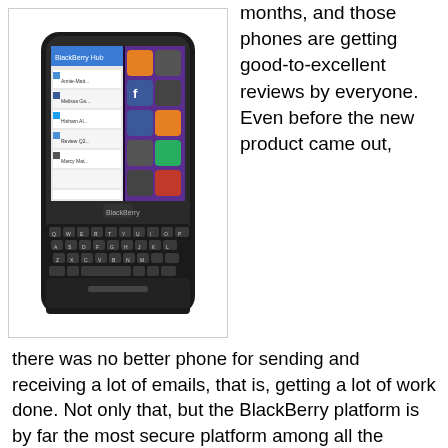[Figure (photo): BlackBerry Q10 smartphone with physical QWERTY keyboard, shown with BlackBerry Hub and app tiles on screen]
months, and those phones are getting good-to-excellent reviews by everyone. Even before the new product came out, there was no better phone for sending and receiving a lot of emails, that is, getting a lot of work done. Not only that, but the BlackBerry platform is by far the most secure platform among all the smartphones. These attributes continue in the new product offerings. Since their market share of the smartphone market has shrunk to a fraction of what is used to be, BlackBerry users are also hard-core fans of the phone, particularly because of the keyboard. Other smartphones make you tap out letters on glass; the BlackBerry has a real keyboard that you can really key